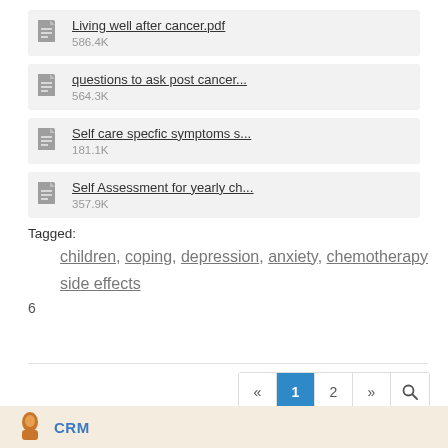Living well after cancer.pdf 586.4K
questions to ask post cancer... 564.3K
Self care specfic symptoms s... 181.1K
Self Assessment for yearly ch... 357.9K
Tagged: children, coping, depression, anxiety, chemotherapy side effects
6
« 1 2 »
CRM